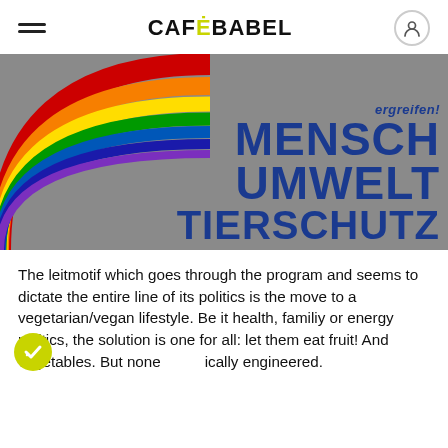CAFEBABEL
[Figure (photo): A German political poster with a grey background showing a rainbow arc on the left side and bold dark blue text reading 'ergreifen! MENSCH UMWELT TIERSCHUTZ' on the right.]
The leitmotif which goes through the program and seems to dictate the entire line of its politics is the move to a vegetarian/vegan lifestyle. Be it health, familiy or energy politics, the solution is one for all: let them eat fruit! And vegetables. But none genetically engineered.